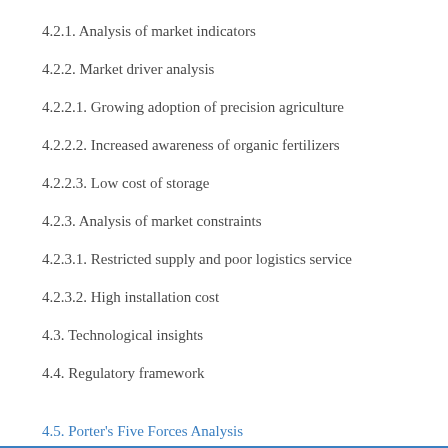4.2.1. Analysis of market indicators
4.2.2. Market driver analysis
4.2.2.1. Growing adoption of precision agriculture
4.2.2.2. Increased awareness of organic fertilizers
4.2.2.3. Low cost of storage
4.2.3. Analysis of market constraints
4.2.3.1. Restricted supply and poor logistics service
4.2.3.2. High installation cost
4.3. Technological insights
4.4. Regulatory framework
4.5. Porter's Five Forces Analysis